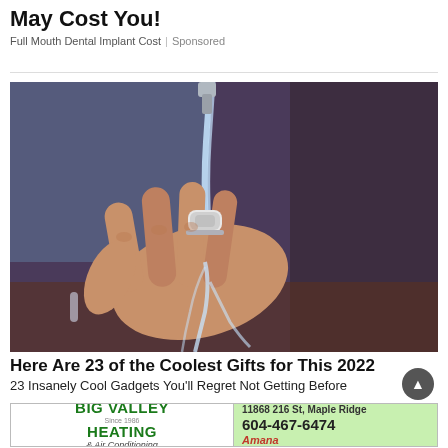May Cost You!
Full Mouth Dental Implant Cost | Sponsored
[Figure (photo): Close-up photo of a hand with a small white device mounted on finger under running water from a faucet — gadget demonstration]
Here Are 23 of the Coolest Gifts for This 2022
23 Insanely Cool Gadgets You'll Regret Not Getting Before
[Figure (logo): Big Valley Heating and Air Conditioning advertisement banner with phone number 604-467-6474 and address 11868 216 St, Maple Ridge, featuring Amana brand logo]